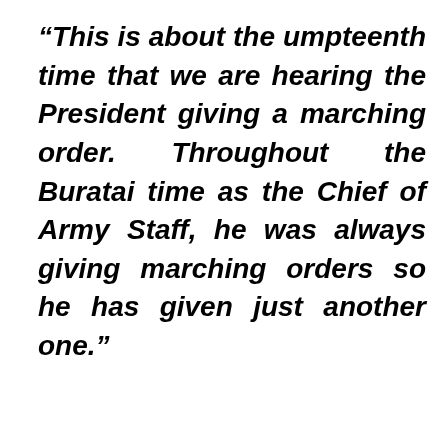“This is about the umpteenth time that we are hearing the President giving a marching order. Throughout the Buratai time as the Chief of Army Staff, he was always giving marching orders so he has given just another one.”